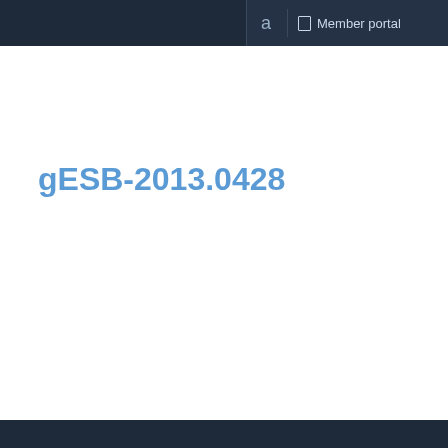a   Member portal
gESB-2013.0428